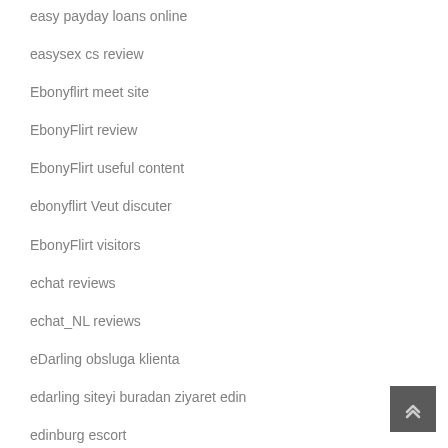easy payday loans online
easysex cs review
Ebonyflirt meet site
EbonyFlirt review
EbonyFlirt useful content
ebonyflirt Veut discuter
EbonyFlirt visitors
echat reviews
echat_NL reviews
eDarling obsluga klienta
edarling siteyi buradan ziyaret edin
edinburg escort